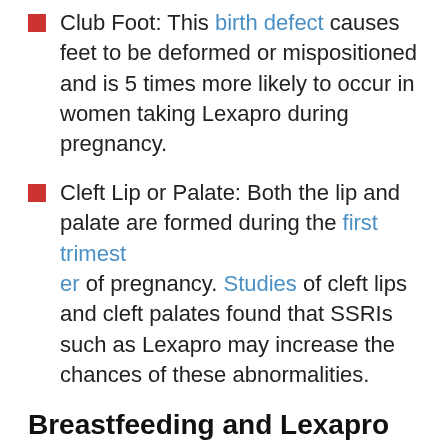Club Foot: This birth defect causes feet to be deformed or mispositioned and is 5 times more likely to occur in women taking Lexapro during pregnancy.
Cleft Lip or Palate: Both the lip and palate are formed during the first trimester of pregnancy. Studies of cleft lips and cleft palates found that SSRIs such as Lexapro may increase the chances of these abnormalities.
Breastfeeding and Lexapro
While studies have shown that small amounts of this drug may be found in the